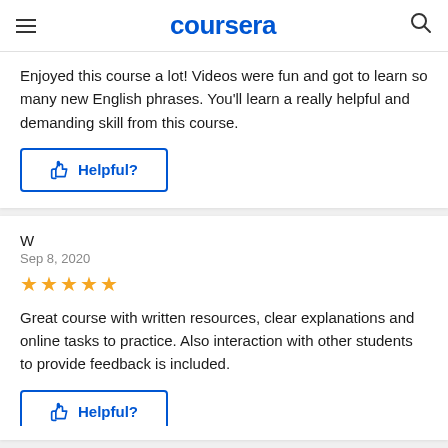coursera
Enjoyed this course a lot! Videos were fun and got to learn so many new English phrases. You'll learn a really helpful and demanding skill from this course.
[Figure (other): Helpful? button with thumbs up icon, blue outlined button]
W
Sep 8, 2020
[Figure (other): 5 yellow star rating]
Great course with written resources, clear explanations and online tasks to practice. Also interaction with other students to provide feedback is included.
[Figure (other): Helpful? button with thumbs up icon, blue outlined button (partially visible)]